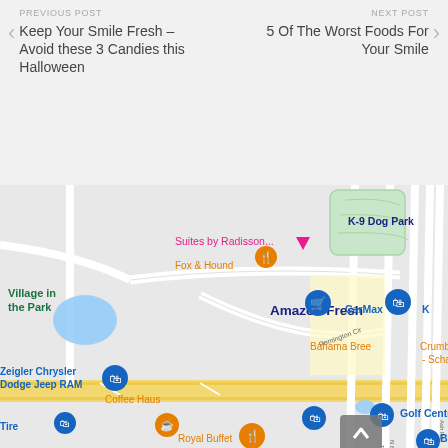PREVIOUS POST
Keep Your Smile Fresh – Avoid these 3 Candies this Halloween
NEXT POST
5 Of The Worst Foods For Your Smile
[Figure (map): Google Maps screenshot showing Schaumburg, IL area with landmarks: Suites by Radisson, Fox & Hound, Amazon Fresh, K-9 Dog Park, CarMax, Crumbl Cookies - Schaumburg, Bahama Breeze, Zeigler Chrysler Dodge Jeep RAM, Coffee Haus, Golf Center, Royal Buffet, Burlington, Village in the Park. Roads include Remington Rd, Remington Cir, Roselle Rd, Apple St, N Bluebonnet, Ash Rd.]